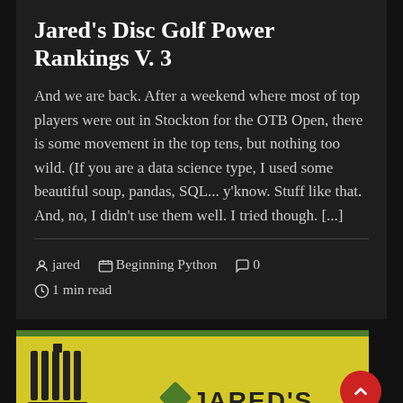Jared’s Disc Golf Power Rankings V. 3
And we are back. After a weekend where most of top players were out in Stockton for the OTB Open, there is some movement in the top tens, but nothing too wild. (If you are a data science type, I used some beautiful soup, pandas, SQL... y’know. Stuff like that. And, no, I didn’t use them well. I tried though. [...]
jared   Beginning Python   0   1 min read
[Figure (illustration): Bottom portion of a disc golf blog image card with a yellow background, a green top bar, a disc golf basket icon on the left, and the beginning of 'JARED’S' text logo on the right. A red scroll-to-top button is visible in the bottom right corner.]